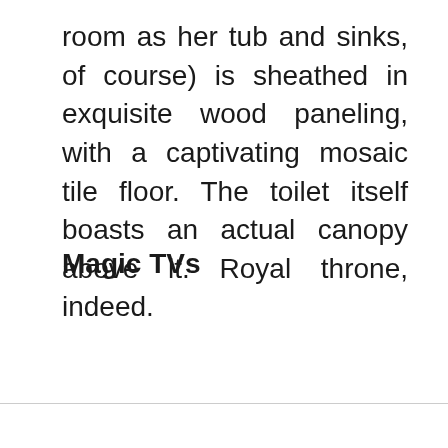room as her tub and sinks, of course) is sheathed in exquisite wood paneling, with a captivating mosaic tile floor. The toilet itself boasts an actual canopy above it. Royal throne, indeed.
Magic TVs